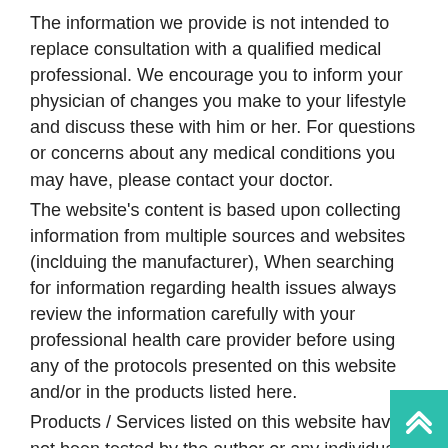The information we provide is not intended to replace consultation with a qualified medical professional. We encourage you to inform your physician of changes you make to your lifestyle and discuss these with him or her. For questions or concerns about any medical conditions you may have, please contact your doctor.
The website's content is based upon collecting information from multiple sources and websites (inclduing the manufacturer), When searching for information regarding health issues always review the information carefully with your professional health care provider before using any of the protocols presented on this website and/or in the products listed here.
Products / Services listed on this website have not been tested by the author or any individual who have contributed in collecting this information
Statements on this website have not been evaluated by the Food and Drug Administration. Products are not intended to diagnose, treat, cure or prevent any disease. If you are pregnant, nursing, taking medication, or have a medical condition, consult your physician before consuming any supplement.